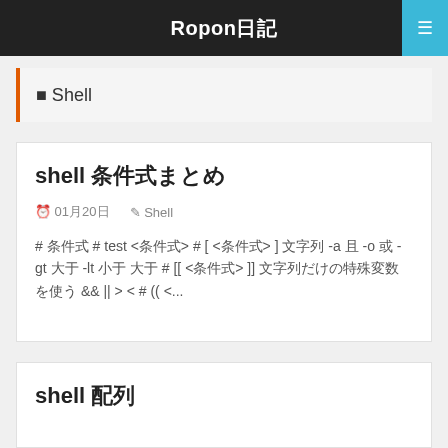Ropon日記
■ Shell
shell 条件式まとめ
⏰ 01月20日　　✎ Shell
# 条件式 # test <条件式> # [ <条件式> ] 文字列 -a 且 -o 或 -gt 大于 -lt 小于 大于 # [[ <条件式> ]] 文字列だけの特殊変数を使う && || > < # (( <...
shell 配列